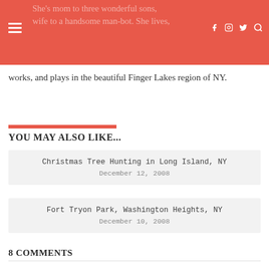She's mom to three wonderful sons, wife to a handsome man-bot. She lives, works, and plays in the beautiful Finger Lakes region of NY.
works, and plays in the beautiful Finger Lakes region of NY.
YOU MAY ALSO LIKE...
Christmas Tree Hunting in Long Island, NY
December 12, 2008
Fort Tryon Park, Washington Heights, NY
December 10, 2008
8 COMMENTS